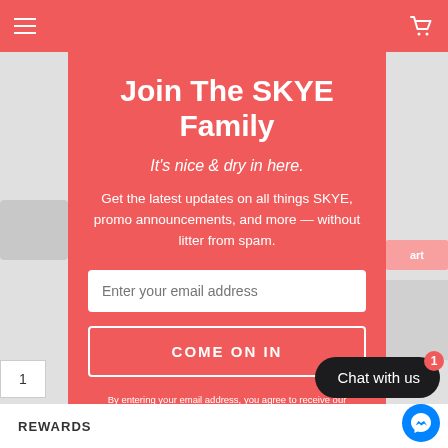Join The SKYE Family
It's nice & dry in here.
Get the latest updates on all things SKYE, promo announcements, and more — without litter from spam.
COME ON IN
By entering your email address, you agree to receive our marketing offers in accordance with our Privacy Policy. You may unsubscribe by clicking on the unsubscribe link at the
REWARDS
Chat with us